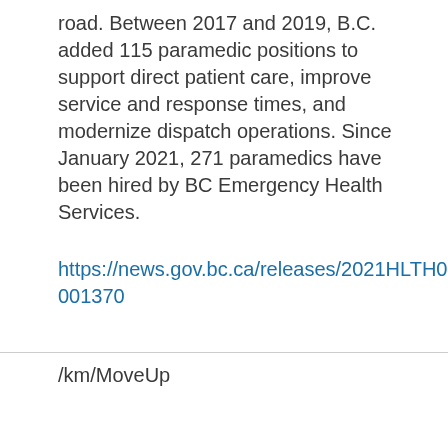road. Between 2017 and 2019, B.C. added 115 paramedic positions to support direct patient care, improve service and response times, and modernize dispatch operations. Since January 2021, 271 paramedics have been hired by BC Emergency Health Services.
https://news.gov.bc.ca/releases/2021HLTH0129-001370
/km/MoveUp